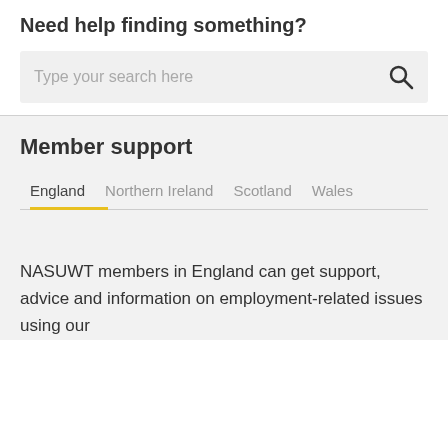Need help finding something?
Type your search here
Member support
England | Northern Ireland | Scotland | Wales
NASUWT members in England can get support, advice and information on employment-related issues using our